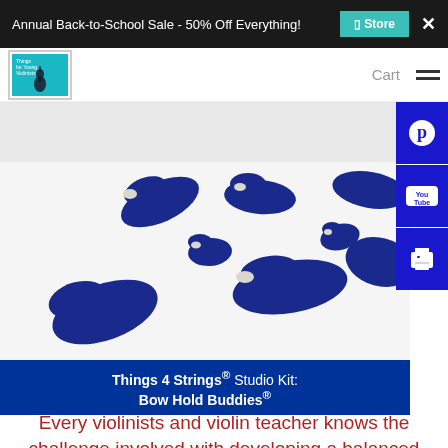Annual Back-to-School Sale - 50% Off Everything! | Store | ×
[Figure (logo): Things for Young Violinists logo — teal square with violin silhouette]
[Figure (photo): Multiple blue clay bow hold buddy finger trainers scattered on white background]
Things 4 Strings® Studio Kit: Bow Hold Buddies®
Every violinists and violin teacher knows the challenge involved with developing a balanced bow hold.